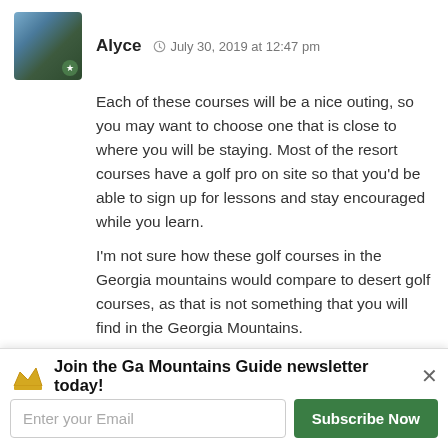[Figure (photo): Avatar photo of Alyce - outdoor landscape image with star badge]
Alyce  July 30, 2019 at 12:47 pm
Each of these courses will be a nice outing, so you may want to choose one that is close to where you will be staying. Most of the resort courses have a golf pro on site so that you'd be able to sign up for lessons and stay encouraged while you learn.
I'm not sure how these golf courses in the Georgia mountains would compare to desert golf courses, as that is not something that you will find in the Georgia Mountains.
Enjoy!
Reply
[Figure (photo): Avatar photo of Gomer - man in dark clothing]
Gomer  July 30, 2019 at 11:56 am
I will be visiting that area to talk with an angel investor who's willing to help me fund our bamboo furniture making business
Join the Ga Mountains Guide newsletter today!
Enter your Email
Subscribe Now